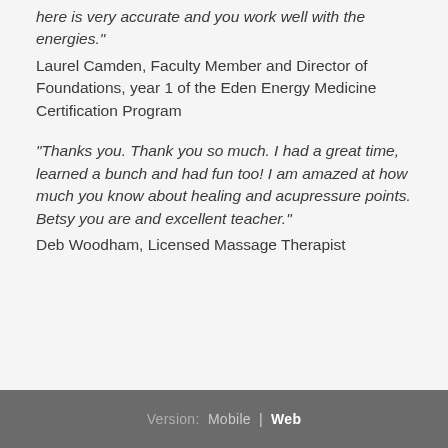here is very accurate and you work well with the energies."
Laurel Camden, Faculty Member and Director of Foundations, year 1 of the Eden Energy Medicine Certification Program
"Thanks you. Thank you so much. I had a great time, learned a bunch and had fun too! I am amazed at how much you know about healing and acupressure points. Betsy you are and excellent teacher."
Deb Woodham, Licensed Massage Therapist
Version: Mobile | Web